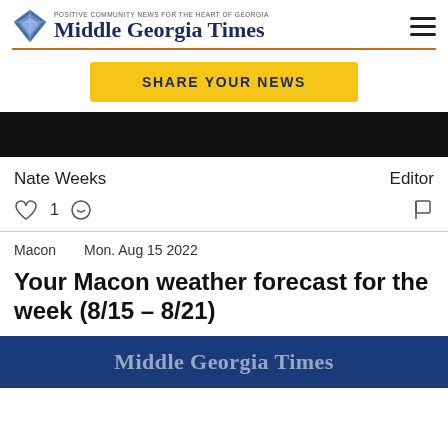POSITIVE COMMUNITY NEWS FOR THE HEART OF GEORGIA — Middle Georgia Times
[Figure (logo): Middle Georgia Times diamond-shaped logo in blue]
SHARE YOUR NEWS
[Figure (photo): Dark/black image bar, partially visible]
Nate Weeks     Editor
♡ 1  ⊙  [flag icon]
Macon   Mon. Aug 15 2022
Your Macon weather forecast for the week (8/15 – 8/21)
[Figure (photo): Middle Georgia Times blue branded image, partially visible at bottom]